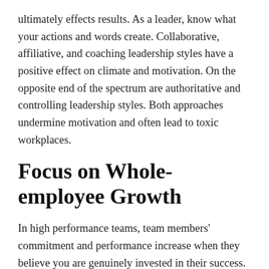ultimately effects results. As a leader, know what your actions and words create. Collaborative, affiliative, and coaching leadership styles have a positive effect on climate and motivation. On the opposite end of the spectrum are authoritative and controlling leadership styles. Both approaches undermine motivation and often lead to toxic workplaces.
Focus on Whole-employee Growth
In high performance teams, team members' commitment and performance increase when they believe you are genuinely invested in their success. Broaden your perspective on growth. Instead of focusing only on professional growth, also spend time helping each person on your team grow outside of work. Simple ways to do this include not sending emails after 6 pm